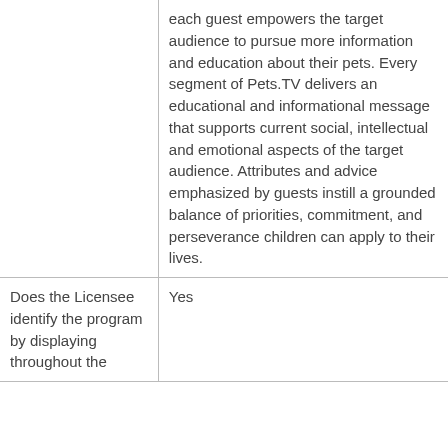|  | each guest empowers the target audience to pursue more information and education about their pets. Every segment of Pets.TV delivers an educational and informational message that supports current social, intellectual and emotional aspects of the target audience. Attributes and advice emphasized by guests instill a grounded balance of priorities, commitment, and perseverance children can apply to their lives. |
| Does the Licensee identify the program by displaying throughout the | Yes |